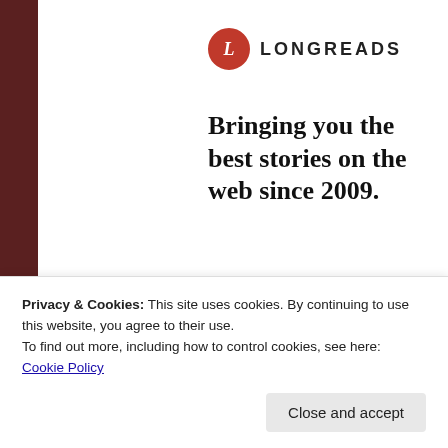[Figure (logo): Longreads logo: red circle with white 'L' followed by LONGREADS text in uppercase]
Bringing you the best stories on the web since 2009.
Start reading
SHARE THIS:
Privacy & Cookies: This site uses cookies. By continuing to use this website, you agree to their use.
To find out more, including how to control cookies, see here: Cookie Policy
Close and accept